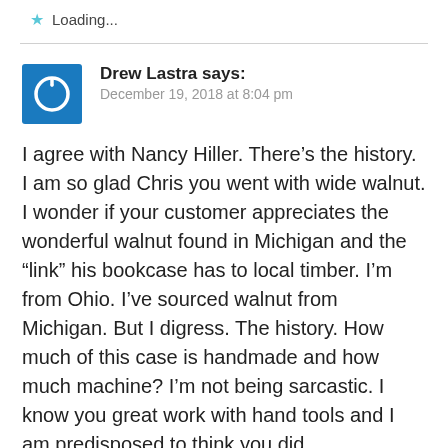Loading...
Drew Lastra says:
December 19, 2018 at 8:04 pm
I agree with Nancy Hiller. There’s the history. I am so glad Chris you went with wide walnut. I wonder if your customer appreciates the wonderful walnut found in Michigan and the “link” his bookcase has to local timber. I’m from Ohio. I’ve sourced walnut from Michigan. But I digress. The history. How much of this case is handmade and how much machine? I’m not being sarcastic. I know you great work with hand tools and I am predisposed to think you did